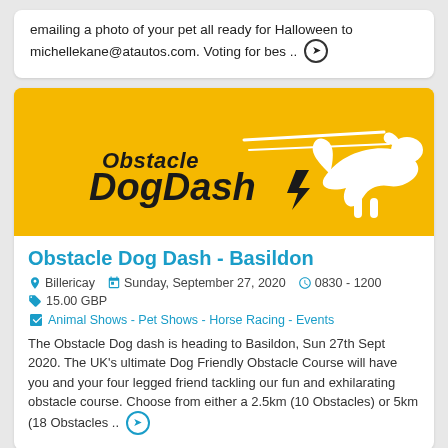emailing a photo of your pet all ready for Halloween to michellekane@atautos.com. Voting for bes .. ➤
[Figure (logo): Obstacle Dog Dash logo on yellow background — stylized running dog silhouette in white with speed lines, text reads 'Obstacle DogDash' in bold black italic font]
Obstacle Dog Dash - Basildon
📍 Billericay  📅 Sunday, September 27, 2020  🕐 0830 - 1200  🏷 15.00 GBP
🎲 Animal Shows - Pet Shows - Horse Racing - Events
The Obstacle Dog dash is heading to Basildon, Sun 27th Sept 2020. The UK's ultimate Dog Friendly Obstacle Course will have you and your four legged friend tackling our fun and exhilarating obstacle course. Choose from either a 2.5km (10 Obstacles) or 5km (18 Obstacles .. ➤
[Figure (photo): Partial photo at the bottom of the page, appears to show people or a crowd scene, mostly cut off]